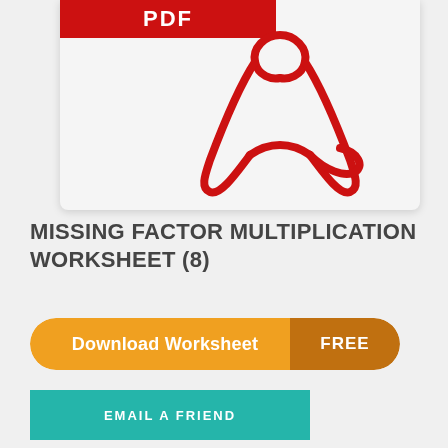[Figure (illustration): Adobe PDF file icon with red top bar labeled PDF and Acrobat reader logo (red figure/cursor icon) on white document background]
MISSING FACTOR MULTIPLICATION WORKSHEET (8)
Download Worksheet FREE
EMAIL A FRIEND